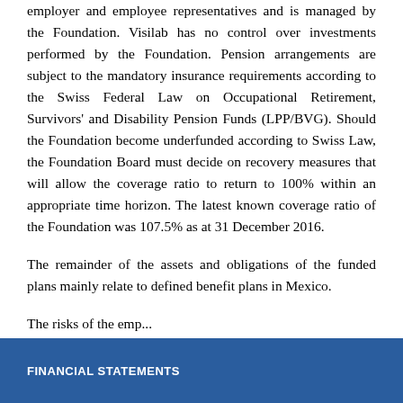employer and employee representatives and is managed by the Foundation. Visilab has no control over investments performed by the Foundation. Pension arrangements are subject to the mandatory insurance requirements according to the Swiss Federal Law on Occupational Retirement, Survivors' and Disability Pension Funds (LPP/BVG). Should the Foundation become underfunded according to Swiss Law, the Foundation Board must decide on recovery measures that will allow the coverage ratio to return to 100% within an appropriate time horizon. The latest known coverage ratio of the Foundation was 107.5% as at 31 December 2016.
The remainder of the assets and obligations of the funded plans mainly relate to defined benefit plans in Mexico.
The risks of the employee...
FINANCIAL STATEMENTS